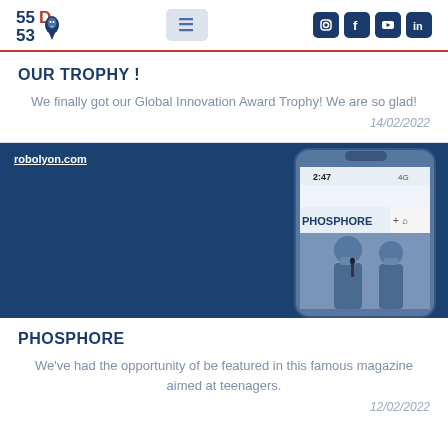55D53 [logo] [hamburger menu] [instagram] [facebook] [youtube] [linkedin]
OUR TROPHY !
We finally got our Global Innovation Award Trophy! We are so glad!
14/02/2022
[Figure (screenshot): Dark blue background with robolyon.com link and a phone mockup showing the Phosphore magazine website with two girls on stage]
PHOSPHORE
We've had the opportunity of be featured in this famous magazine aimed at teenagers.
12/02/2022